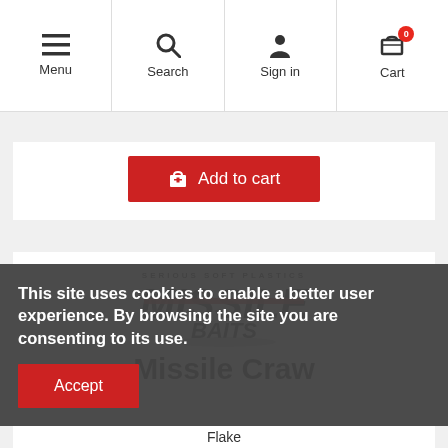Menu | Search | Sign in | Cart
[Figure (screenshot): Add to cart button - red button with shopping bag icon and text 'Add to cart']
[Figure (logo): Missile Baits logo - 'SERIOUS SOFT PLASTICS' above 'MISSILE BAITS' in bold black and red text]
Missile Craw
This site uses cookies to enable a better user experience. By browsing the site you are consenting to its use.
Accept
Flake